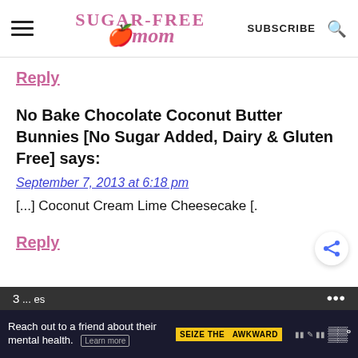Sugar-Free Mom | SUBSCRIBE
Reply
No Bake Chocolate Coconut Butter Bunnies [No Sugar Added, Dairy & Gluten Free] says:
September 7, 2013 at 6:18 pm
[...] Coconut Cream Lime Cheesecake [.
Reply
[Figure (screenshot): Ad banner: Reach out to a friend about their mental health. Learn more. SEIZE THE AWKWARD.]